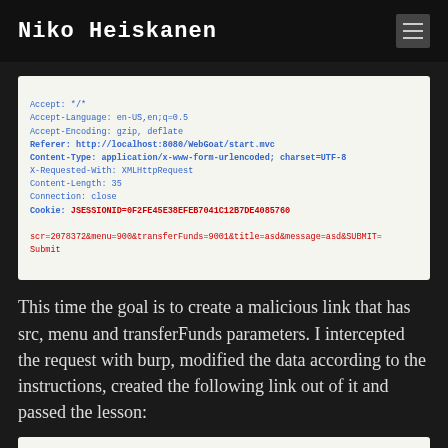Niko Heiskanen
[Figure (screenshot): HTTP request code block showing headers and form data including Accept, Accept-Language, Accept-Encoding, Referer, Content-Type, X-Requested-With, Content-Length, Connection, Cookie with JSESSIONID, and form body parameters.]
This time the goal is to create a malicious link that has src, menu and transferFunds parameters. I intercepted the request with burp, modified the data according to the instructions, created the following link out of it and passed the lesson:
[Figure (screenshot): Code block showing beginning of: http://localhost:8080/WebGoat/start.mvc#attack/...]